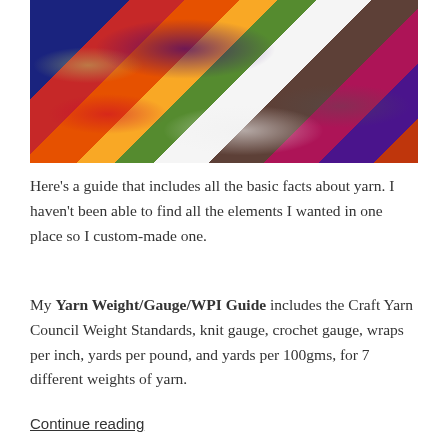[Figure (photo): Colorful skeins and balls of yarn in various colors including blue, red, orange, green, white, gray, and purple, piled together on a wooden surface.]
Here's a guide that includes all the basic facts about yarn. I haven't been able to find all the elements I wanted in one place so I custom-made one.
My Yarn Weight/Gauge/WPI Guide includes the Craft Yarn Council Weight Standards, knit gauge, crochet gauge, wraps per inch, yards per pound, and yards per 100gms, for 7 different weights of yarn.
Continue reading